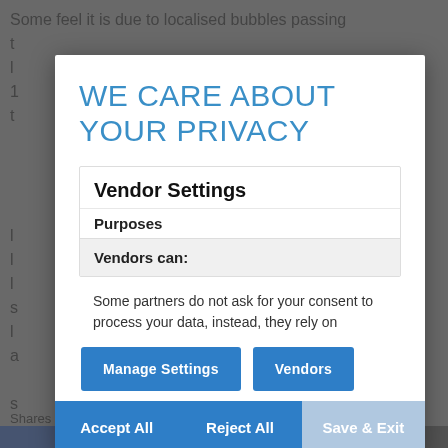Some feel it is due to localised bubbles passing t ... l ... 1 ... t ... Vendors can: ... 1 ... 1 ... s ... l ... a ... s ... Shares
WE CARE ABOUT YOUR PRIVACY
Vendor Settings
Purposes
Vendors can:
Some partners do not ask for your consent to process your data, instead, they rely on
Manage Settings
Vendors
Accept All
Reject All
Save & Exit